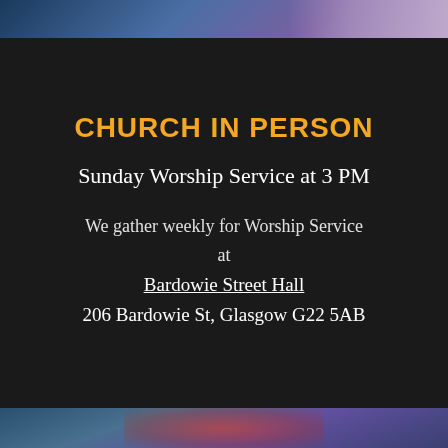[Figure (photo): Top banner photo showing people at a church worship service, blurred/bokeh background with purple and blue tones]
CHURCH IN PERSON
Sunday Worship Service at 3 PM
We gather weekly for Worship Service at Bardowie Street Hall 206 Bardowie St, Glasgow G22 5AB
[Figure (photo): Bottom photo showing a blurred outdoor scene with a red/colorful object, blue-grey tones, church exterior]